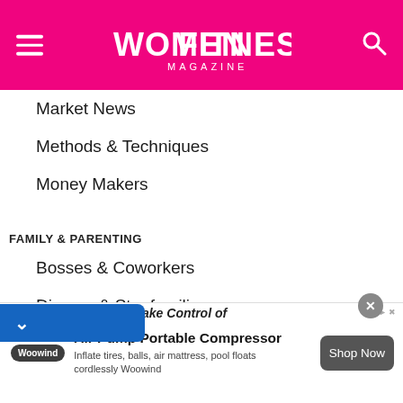Women Fitness Magazine
Market News
Methods & Techniques
Money Makers
FAMILY & PARENTING
Bosses & Coworkers
Divorce & Stepfamilies
Family & Friends
& Children Health
Take Control of
[Figure (infographic): Advertisement banner for Woowind Air Pump Portable Compressor with shop now button]